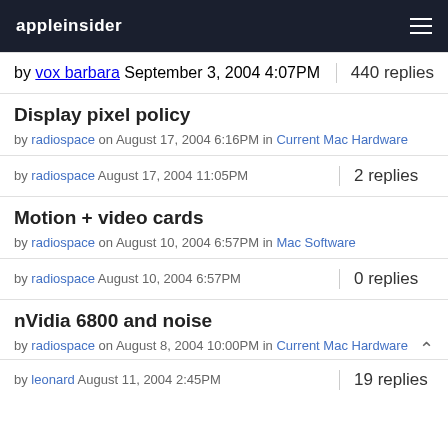appleinsider
by vox barbara September 3, 2004 4:07PM | 440 replies
Display pixel policy
by radiospace on August 17, 2004 6:16PM in Current Mac Hardware
by radiospace August 17, 2004 11:05PM | 2 replies
Motion + video cards
by radiospace on August 10, 2004 6:57PM in Mac Software
by radiospace August 10, 2004 6:57PM | 0 replies
nVidia 6800 and noise
by radiospace on August 8, 2004 10:00PM in Current Mac Hardware
by leonard August 11, 2004 2:45PM | 19 replies